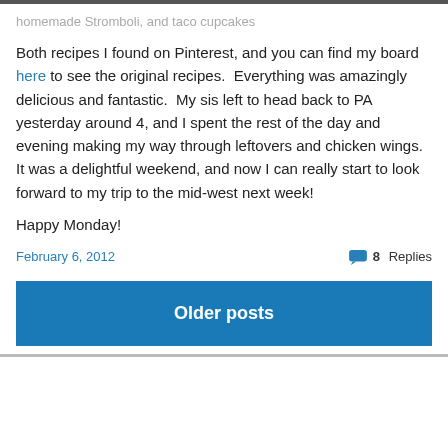homemade Stromboli, and taco cupcakes
Both recipes I found on Pinterest, and you can find my board here to see the original recipes.  Everything was amazingly delicious and fantastic.  My sis left to head back to PA yesterday around 4, and I spent the rest of the day and evening making my way through leftovers and chicken wings.  It was a delightful weekend, and now I can really start to look forward to my trip to the mid-west next week!
Happy Monday!
February 6, 2012
8 Replies
Older posts